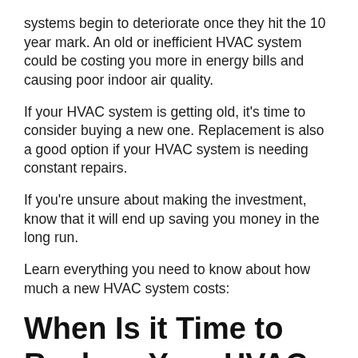systems begin to deteriorate once they hit the 10 year mark. An old or inefficient HVAC system could be costing you more in energy bills and causing poor indoor air quality.
If your HVAC system is getting old, it's time to consider buying a new one. Replacement is also a good option if your HVAC system is needing constant repairs.
If you're unsure about making the investment, know that it will end up saving you money in the long run.
Learn everything you need to know about how much a new HVAC system costs:
When Is it Time to Replace Your HVAC System?